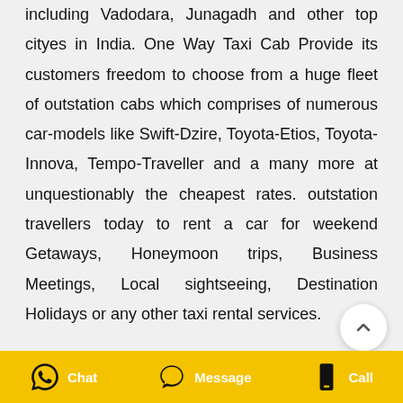including Vadodara, Junagadh and other top cityes in India. One Way Taxi Cab Provide its customers freedom to choose from a huge fleet of outstation cabs which comprises of numerous car-models like Swift-Dzire, Toyota-Etios, Toyota-Innova, Tempo-Traveller and a many more at unquestionably the cheapest rates. outstation travellers today to rent a car for weekend Getaways, Honeymoon trips, Business Meetings, Local sightseeing, Destination Holidays or any other taxi rental services.
Chat  Message  Call